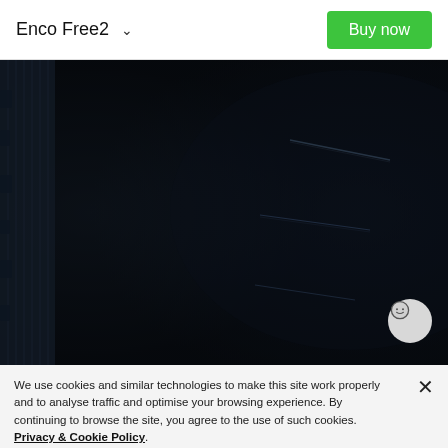Enco Free2  ∨   Buy now
[Figure (photo): Dark product hero image showing a close-up of earphone mesh/grille texture with faint diagonal light streaks against a very dark navy/black background.]
We use cookies and similar technologies to make this site work properly and to analyse traffic and optimise your browsing experience. By continuing to browse the site, you agree to the use of such cookies. Privacy & Cookie Policy.